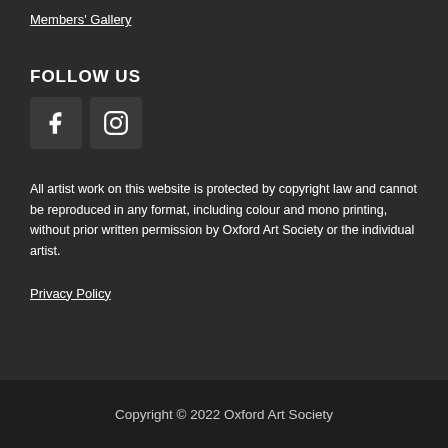Members' Gallery
FOLLOW US
[Figure (illustration): Two social media icons: Facebook (f) and Instagram (camera icon), displayed as dark square buttons with white symbols.]
All artist work on this website is protected by copyright law and cannot be reproduced in any format, including colour and mono printing, without prior written permission by Oxford Art Society or the individual artist.
Privacy Policy
Copyright © 2022 Oxford Art Society